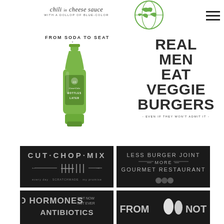[Figure (illustration): Decorative script text logo reading 'chili in cheese sauce WITH A DOLLOP OF BLUE-COLOR']
[Figure (logo): Green globe/earth logo illustration]
[Figure (other): Hamburger menu icon (three horizontal lines)]
FROM SODA TO SEAT
[Figure (illustration): Green Coca-Cola bottle illustration with text '111 Coca-Cola BOTTLES LATER']
REAL MEN EAT VEGGIE BURGERS - EVEN IF THEY WON'T ADMIT IT -
[Figure (logo): Dark background logo: CUT CHOP MIX with tally marks and text 'every day · SCRATCHMADE · my promise']
[Figure (logo): Dark background text: LESS BURGER JOINT - MORE - GOURMET RESTAURANT with illustration]
[Figure (illustration): Dark background text: NO HORMONES NOT NOW NOT EVER ... ANTIBIOTICS (partially visible)]
[Figure (illustration): Dark background text: FROM ... NOT (partially visible, with bowling pin illustration)]